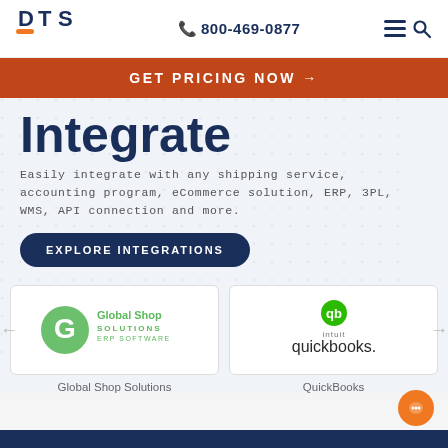[Figure (logo): DTS company logo with orange dash accent]
800-469-0877
GET PRICING NOW →
Integrate
Easily integrate with any shipping service, accounting program, eCommerce solution, ERP, 3PL, WMS, API connection and more.
EXPLORE INTEGRATIONS
[Figure (logo): Global Shop Solutions ERP Software logo]
[Figure (logo): Intuit QuickBooks logo]
Global Shop Solutions
QuickBooks